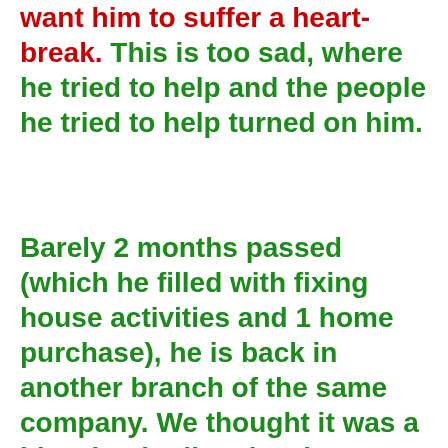want him to suffer a heart-break. This is too sad, where he tried to help and the people he tried to help turned on him.
Barely 2 months passed (which he filled with fixing house activities and 1 home purchase), he is back in another branch of the same company. We thought it was a blessing in disguise, because if he didn't